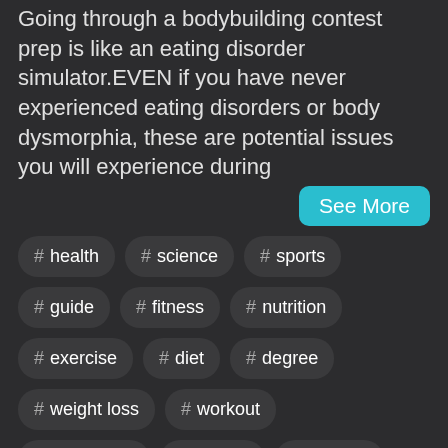Going through a bodybuilding contest prep is like an eating disorder simulator.EVEN if you have never experienced eating disorders or body dysmorphia, these are potential issues you will experience during
See More
# health
# science
# sports
# guide
# fitness
# nutrition
# exercise
# diet
# degree
# weight loss
# workout
# depending
# muscle
# smarter
# reds
# bodybuilding
# dieting
# physiology
# fat loss